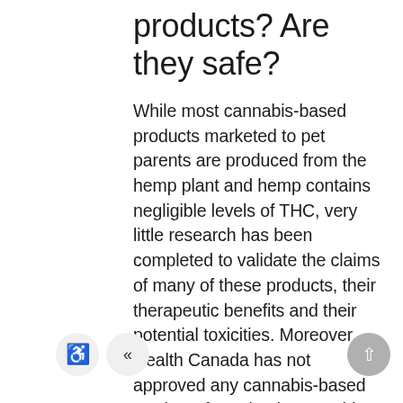products? Are they safe?
While most cannabis-based products marketed to pet parents are produced from the hemp plant and hemp contains negligible levels of THC, very little research has been completed to validate the claims of many of these products, their therapeutic benefits and their potential toxicities. Moreover, Health Canada has not approved any cannabis-based products for animal use at this time. All products containing cannabidiol (CBD) require a prescription for use, and as such, any herbal product sold without a prescription is being sold outside of the bounds of current legislation. In summary, veterinarians do not currently have a legal pathway to prescribing cannabis products